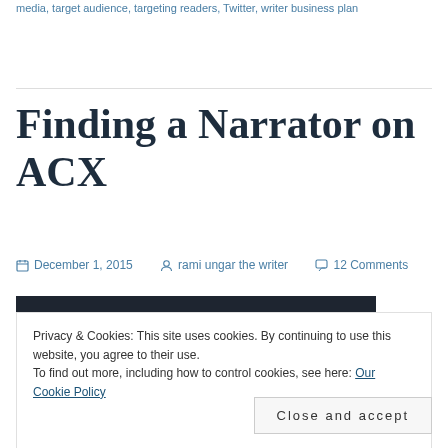media, target audience, targeting readers, Twitter, writer business plan
Finding a Narrator on ACX
December 1, 2015   rami ungar the writer   12 Comments
[Figure (screenshot): Dark header bar of a website]
Privacy & Cookies: This site uses cookies. By continuing to use this website, you agree to their use.
To find out more, including how to control cookies, see here: Our Cookie Policy
Close and accept
[Figure (screenshot): Dark bar at bottom with 'using' text visible]